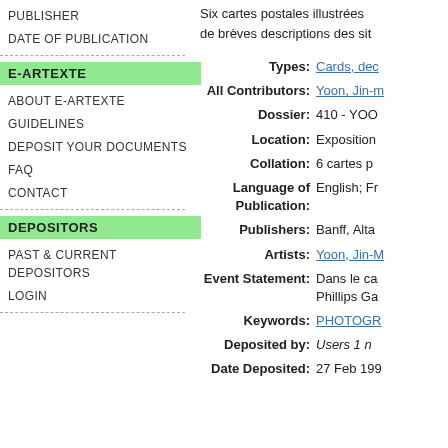PUBLISHER
DATE OF PUBLICATION
E-ARTEXTE
ABOUT E-ARTEXTE
GUIDELINES
DEPOSIT YOUR DOCUMENTS
FAQ
CONTACT
DEPOSITORS
PAST & CURRENT DEPOSITORS
LOGIN
Six cartes postales illustrées de brèves descriptions des sit
| Field | Value |
| --- | --- |
| Types: | Cards, dec |
| All Contributors: | Yoon, Jin-m |
| Dossier: | 410 - YOO |
| Location: | Exposition |
| Collation: | 6 cartes p |
| Language of Publication: | English; Fr |
| Publishers: | Banff, Alta |
| Artists: | Yoon, Jin-M |
| Event Statement: | Dans le ca Phillips Ga |
| Keywords: | PHOTOGR |
| Deposited by: | Users 1 n |
| Date Deposited: | 27 Feb 199 |